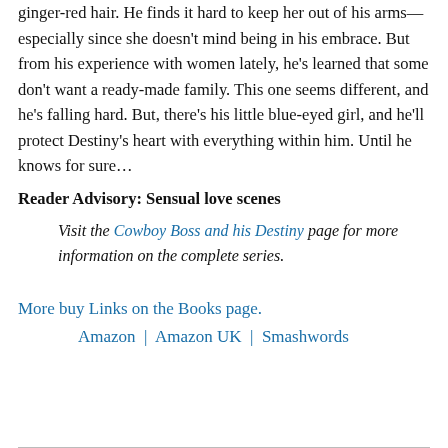ginger-red hair. He finds it hard to keep her out of his arms—especially since she doesn't mind being in his embrace. But from his experience with women lately, he's learned that some don't want a ready-made family. This one seems different, and he's falling hard. But, there's his little blue-eyed girl, and he'll protect Destiny's heart with everything within him. Until he knows for sure…
Reader Advisory: Sensual love scenes
Visit the Cowboy Boss and his Destiny page for more information on the complete series.
More buy Links on the Books page.
Amazon | Amazon UK | Smashwords